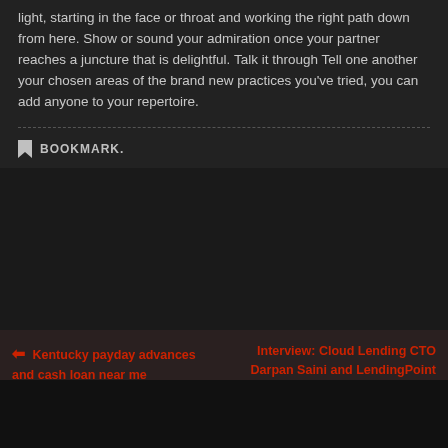light, starting in the face or throat and working the right path down from here. Show or sound your admiration once your partner reaches a juncture that is delightful. Talk it through Tell one another your chosen areas of the brand new practices you've tried, you can add anyone to your repertoire.
BOOKMARK.
Kentucky payday advances and cash loan near me
Interview: Cloud Lending CTO Darpan Saini and LendingPoint CTO Franck Fatras Discuss Partnership and Cloud Options